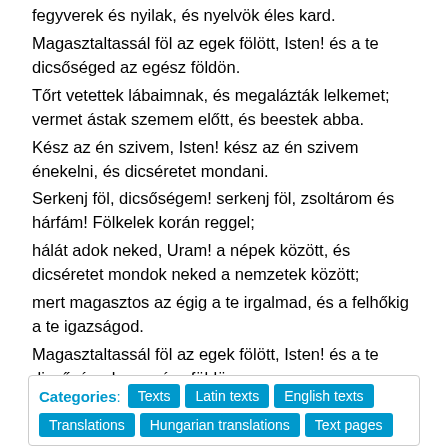fegyverek és nyilak, és nyelvök éles kard. Magasztaltassál föl az egek fölött, Isten! és a te dicsőséged az egész földön. Tőrt vetettek lábaimnak, és megalázták lelkemet; vermet ástak szemem előtt, és beestek abba. Kész az én szivem, Isten! kész az én szivem énekelni, és dicséretet mondani. Serkenj föl, dicsőségem! serkenj föl, zsoltárom és hárfám! Fölkelek korán reggel; hálát adok neked, Uram! a népek között, és dicséretet mondok neked a nemzetek között; mert magasztos az égig a te irgalmad, és a felhőkig a te igazságod. Magasztaltassál föl az egek fölött, Isten! és a te dicsőséged az egész földön.
Categories: Texts | Latin texts | English texts | Translations | Hungarian translations | Text pages